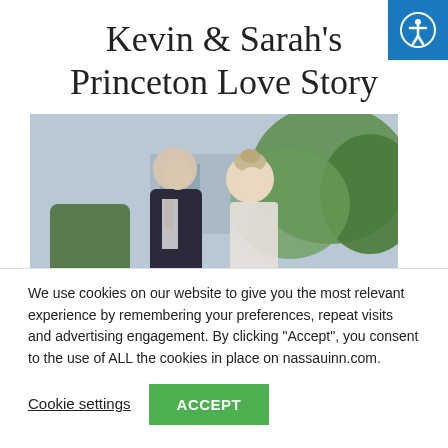Kevin & Sarah's Princeton Love Story
[Figure (photo): Wedding couple facing each other outdoors, man in dark suit, woman with upswept hair, green hedges and trees in background]
We use cookies on our website to give you the most relevant experience by remembering your preferences, repeat visits and advertising engagement. By clicking “Accept”, you consent to the use of ALL the cookies in place on nassauinn.com.
Cookie settings
ACCEPT